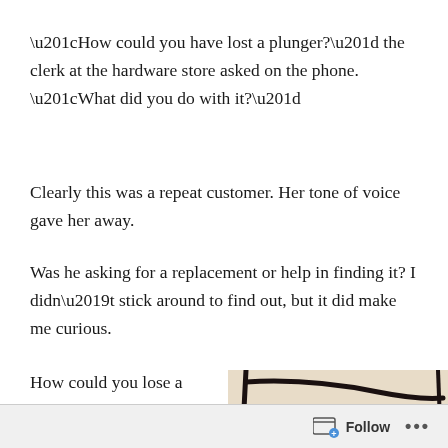“How could you have lost a plunger?” the clerk at the hardware store asked on the phone. “What did you do with it?”
Clearly this was a repeat customer. Her tone of voice gave her away.
Was he asking for a replacement or help in finding it? I didn’t stick around to find out, but it did make me curious.
How could you lose a plunger? How could you lose any plumbing tool for that matter? They’re large enough to trip over.
[Figure (illustration): Partial view of a black and beige illustrated image, showing bold black lines on a light tan/cream background, visible in the lower right of the page.]
Follow ...